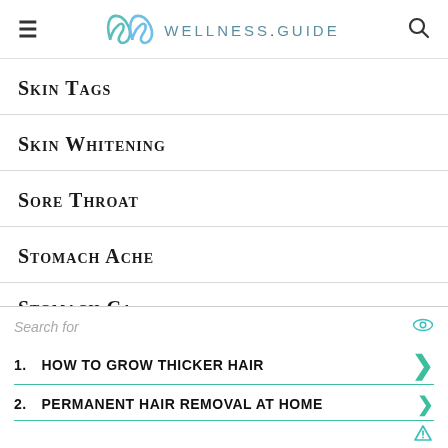WELLNESS.GUIDE
Skin Tags
Skin Whitening
Sore Throat
Stomach Ache
Stomach Ca...
[Figure (other): Advertisement overlay with search label and two sponsored results: 1. HOW TO GROW THICKER HAIR, 2. PERMANENT HAIR REMOVAL AT HOME]